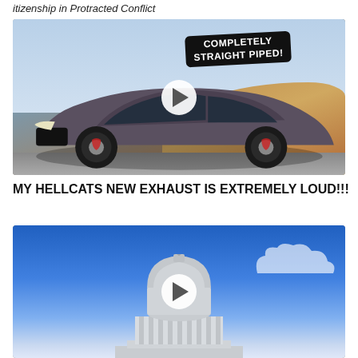itizenship in Protracted Conflict
[Figure (screenshot): Thumbnail of a silver Dodge Charger Hellcat with text overlay 'COMPLETELY STRAIGHT PIPED!' and a play button in the center]
MY HELLCATS NEW EXHAUST IS EXTREMELY LOUD!!!
[Figure (screenshot): Thumbnail of the US Capitol building dome against a blue sky with a play button in the center]